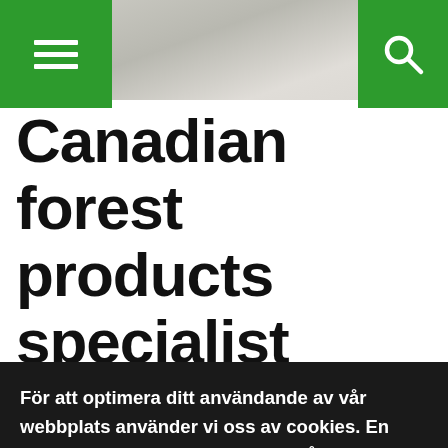[Figure (screenshot): Top navigation bar with green hamburger menu icon on left, background photo of stacked lumber/paper rolls in center, and green search button on right]
Canadian forest products specialist posts
För att optimera ditt användande av vår webbplats använder vi oss av cookies. En cookie är en textfil som sparas på din dator. Om du önskar ytterligare information om vad en cookie är, vilka cookies vi använder, vad syftet med cookien är eller hur du kan blockera eller radera cookies, vänligen läs Om cookies.
Jag godkänner